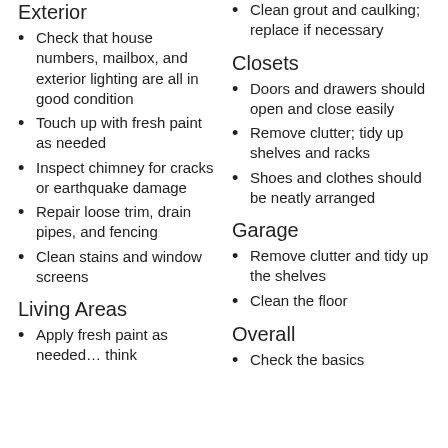Exterior
Check that house numbers, mailbox, and exterior lighting are all in good condition
Touch up with fresh paint as needed
Inspect chimney for cracks or earthquake damage
Repair loose trim, drain pipes, and fencing
Clean stains and window screens
Living Areas
Apply fresh paint as needed… think
Clean grout and caulking; replace if necessary
Closets
Doors and drawers should open and close easily
Remove clutter; tidy up shelves and racks
Shoes and clothes should be neatly arranged
Garage
Remove clutter and tidy up the shelves
Clean the floor
Overall
Check the basics